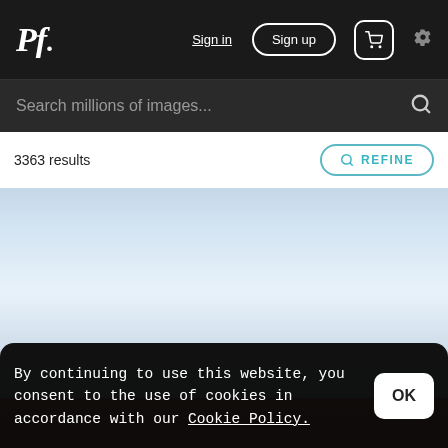Pf. Sign in Sign up 🛒 ⚙
Search millions of images...
3363 results
REFINE
[Figure (photo): Landscape photo with light blue cloudy sky and a strip of red/orange ground at the bottom]
By continuing to use this website, you consent to the use of cookies in accordance with our Cookie Policy.